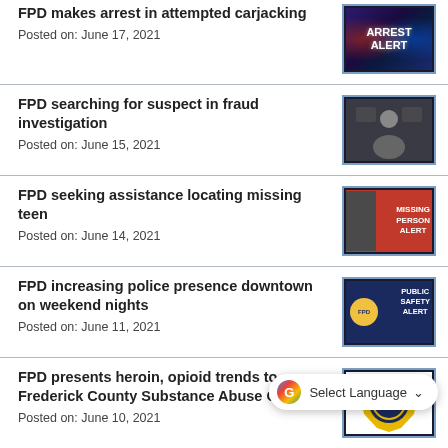FPD makes arrest in attempted carjacking
Posted on: June 17, 2021
FPD searching for suspect in fraud investigation
Posted on: June 15, 2021
FPD seeking assistance locating missing teen
Posted on: June 14, 2021
FPD increasing police presence downtown on weekend nights
Posted on: June 11, 2021
FPD presents heroin, opioid trends to Frederick County Substance Abuse Council
Posted on: June 10, 2021
FPD seeking assistance locating elderly